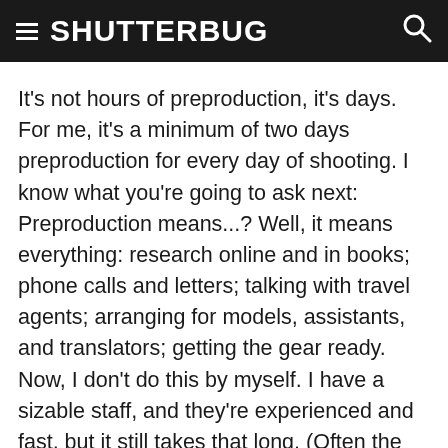SHUTTERBUG
It's not hours of preproduction, it's days. For me, it's a minimum of two days preproduction for every day of shooting. I know what you're going to ask next: Preproduction means...? Well, it means everything: research online and in books; phone calls and letters; talking with travel agents; arranging for models, assistants, and translators; getting the gear ready. Now, I don't do this by myself. I have a sizable staff, and they're experienced and fast, but it still takes that long. (Often the places I'm most familiar with take longer to plan for, simply because we need to find new locations and come up with new ideas and new angles.)